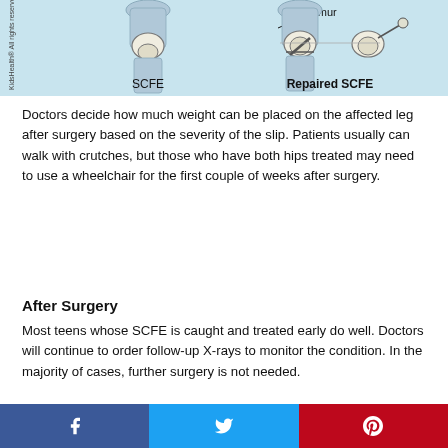[Figure (illustration): Medical illustration showing SCFE (Slipped Capital Femoral Epiphysis) and Repaired SCFE diagrams side by side on a light blue background. Left side shows leg outline with SCFE hip anatomy. Right side shows repaired SCFE with femur label and surgical screws. Labels: 'SCFE' and 'Repaired SCFE'. KidsHealth copyright notice on left side.]
Doctors decide how much weight can be placed on the affected leg after surgery based on the severity of the slip. Patients usually can walk with crutches, but those who have both hips treated may need to use a wheelchair for the first couple of weeks after surgery.
After Surgery
Most teens whose SCFE is caught and treated early do well. Doctors will continue to order follow-up X-rays to monitor the condition. In the majority of cases, further surgery is not needed.